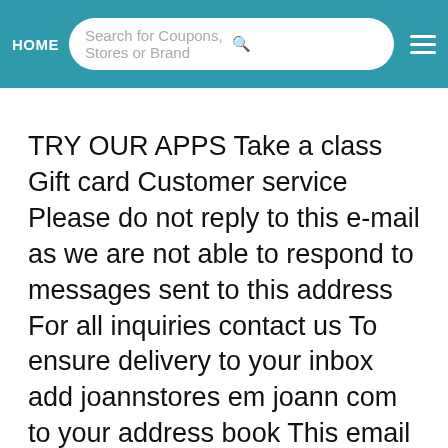HOME  Search for Coupons, Stores or Brand
TRY OUR APPS Take a class Gift card Customer service Please do not reply to this e-mail as we are not able to respond to messages sent to this address For all inquiries contact us To ensure delivery to your inbox add joannstores em joann com to your address book This email was sent to shoppingexplorer outlook com Get more of what you want Update your email preferences here To unsubscribe click here Privacy Policy Shop Save through 06 01 2022 11 59pm ET General Promotional Disclaimer PERSONALIZED INTERNET